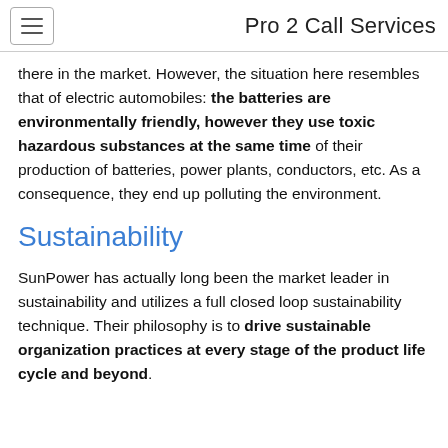Pro 2 Call Services
there in the market. However, the situation here resembles that of electric automobiles: the batteries are environmentally friendly, however they use toxic hazardous substances at the same time of their production of batteries, power plants, conductors, etc. As a consequence, they end up polluting the environment.
Sustainability
SunPower has actually long been the market leader in sustainability and utilizes a full closed loop sustainability technique. Their philosophy is to drive sustainable organization practices at every stage of the product life cycle and beyond.